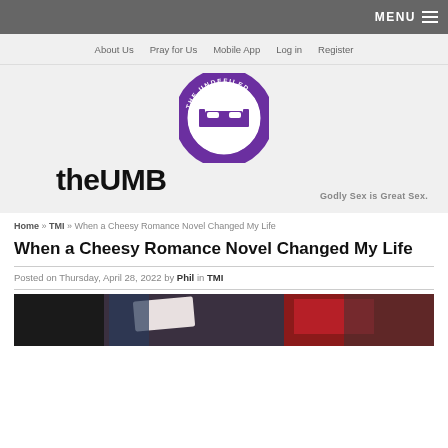MENU
About Us | Pray for Us | Mobile App | Log in | Register
[Figure (logo): The Undefiled Marriage Bed circular purple badge logo with a bed icon, and 'theUMB' text below. Tagline: Godly Sex is Great Sex.]
Home » TMI » When a Cheesy Romance Novel Changed My Life
When a Cheesy Romance Novel Changed My Life
Posted on Thursday, April 28, 2022 by Phil in TMI
[Figure (photo): Partial photo of colorful fabrics/clothing in dark setting]